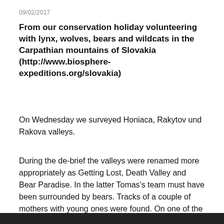09/02/2017
From our conservation holiday volunteering with lynx, wolves, bears and wildcats in the Carpathian mountains of Slovakia (http://www.biosphere-expeditions.org/slovakia)
On Wednesday we surveyed Honiaca, Rakytov und Rakova valleys.
During the de-brief the valleys were renamed more appropriately as Getting Lost, Death Valley and Bear Paradise. In the latter Tomas's team must have been surrounded by bears. Tracks of a couple of mothers with young ones were found. On one of the meadows the bears must have thrown a party. The whole area was covered with footprints. Not much other wildlife, though, for this group, but the first sign of wild boar presence this year.